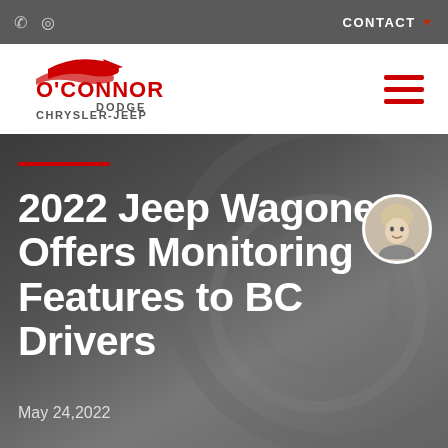O'Connor Dodge Chrysler-Jeep | CONTACT
[Figure (logo): O'Connor Dodge Chrysler-Jeep dealership logo with red stylized car and red text]
2022 Jeep Wagoneer Offers Monitoring Features to BC Drivers
May 24,2022